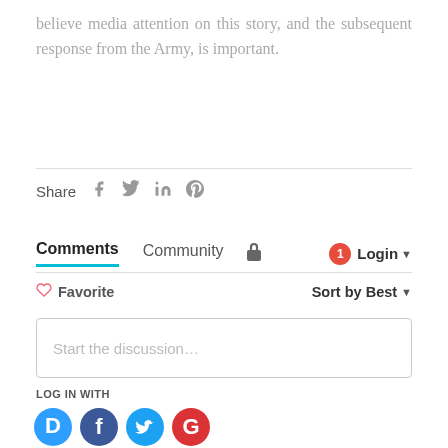believe media attention on this story, and the subsequent response from the Army, is important.
Share
Comments  Community  Login
♡ Favorite  Sort by Best
Start the discussion...
LOG IN WITH